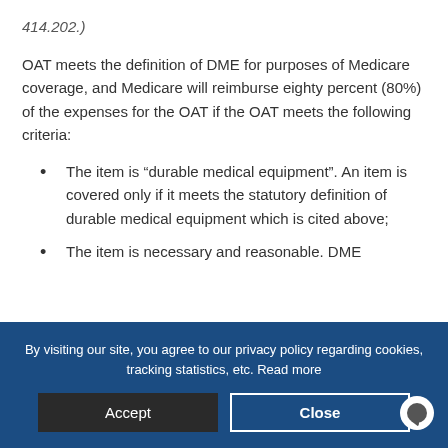414.202.)
OAT meets the definition of DME for purposes of Medicare coverage, and Medicare will reimburse eighty percent (80%) of the expenses for the OAT if the OAT meets the following criteria:
The item is “durable medical equipment”. An item is covered only if it meets the statutory definition of durable medical equipment which is cited above;
The item is necessary and reasonable. DME
By visiting our site, you agree to our privacy policy regarding cookies, tracking statistics, etc. Read more